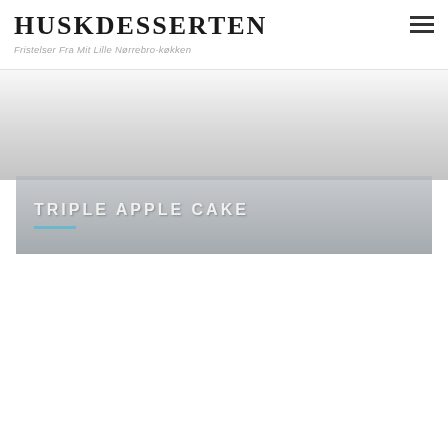HUSKDESSERTEN
Fristelser Fra Mit Lille Nørrebro-køkken
[Figure (photo): Hero image area with gradient grey background representing a food/dessert photo]
TRIPLE APPLE CAKE
[Figure (other): Back-to-top button with upward arrow in light blue]